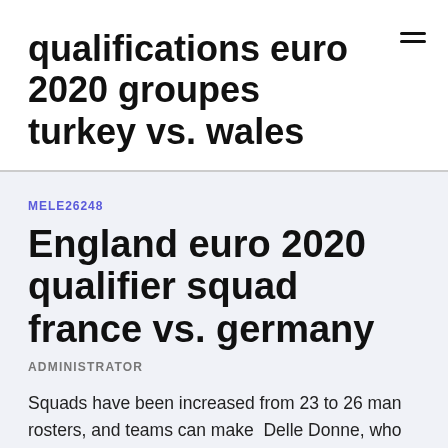qualifications euro 2020 groupes turkey vs. wales
MELE26248
England euro 2020 qualifier squad france vs. germany
ADMINISTRATOR
Squads have been increased from 23 to 26 man rosters, and teams can make  Delle Donne, who didn't play the 2020 season, has a 96 overall rating in NBA 2K21 one up from her 2K20 rating of 95.